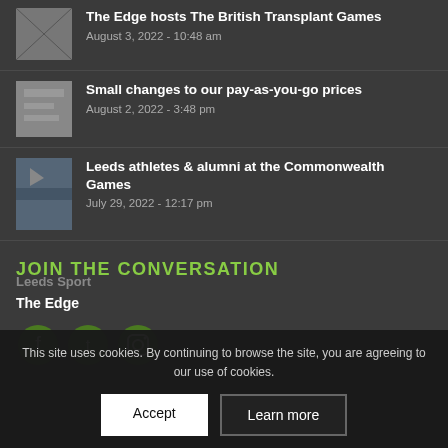The Edge hosts The British Transplant Games - August 3, 2022 - 10:48 am
Small changes to our pay-as-you-go prices - August 2, 2022 - 3:48 pm
Leeds athletes & alumni at the Commonwealth Games - July 29, 2022 - 12:17 pm
JOIN THE CONVERSATION
The Edge
[Figure (illustration): Social media icons: Facebook, Twitter, Instagram on green circular backgrounds]
Leeds Sport
[Figure (illustration): Cookie consent banner with Accept and Learn more buttons]
This site uses cookies. By continuing to browse the site, you are agreeing to our use of cookies.